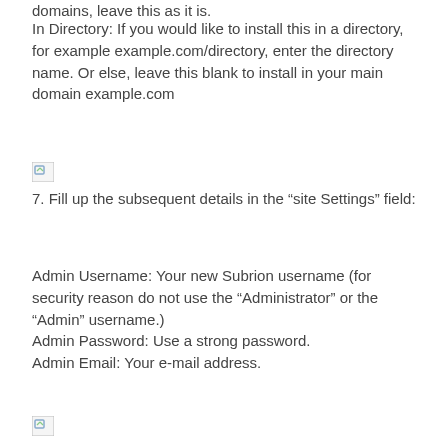domains, leave this as it is.
In Directory: If you would like to install this in a directory, for example example.com/directory, enter the directory name. Or else, leave this blank to install in your main domain example.com
[Figure (other): Broken image placeholder]
7. Fill up the subsequent details in the “site Settings” field:
Admin Username: Your new Subrion username (for security reason do not use the “Administrator” or the “Admin” username.)
Admin Password: Use a strong password.
Admin Email: Your e-mail address.
[Figure (other): Broken image placeholder]